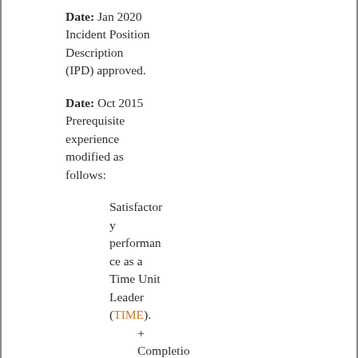Date: Jan 2020 Incident Position Description (IPD) approved.
Date: Oct 2015 Prerequisite experience modified as follows:
Satisfactory performance as a Time Unit Leader (TIME).
+ Completio